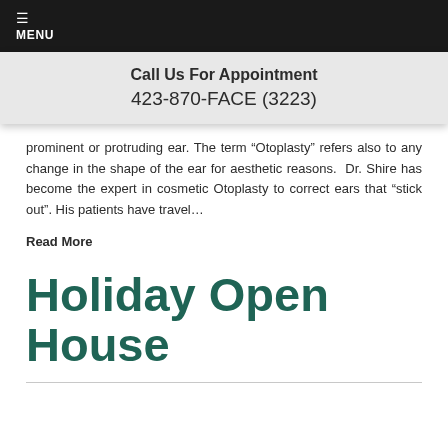☰ MENU
Call Us For Appointment
423-870-FACE (3223)
prominent or protruding ear. The term “Otoplasty” refers also to any change in the shape of the ear for aesthetic reasons.  Dr. Shire has become the expert in cosmetic Otoplasty to correct ears that “stick out”. His patients have travel…
Read More
Holiday Open House